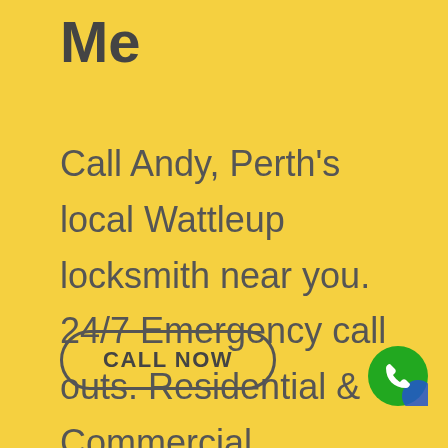Me
Call Andy, Perth's local Wattleup locksmith near you. 24/7 Emergency call outs. Residential & Commercial.
CALL NOW